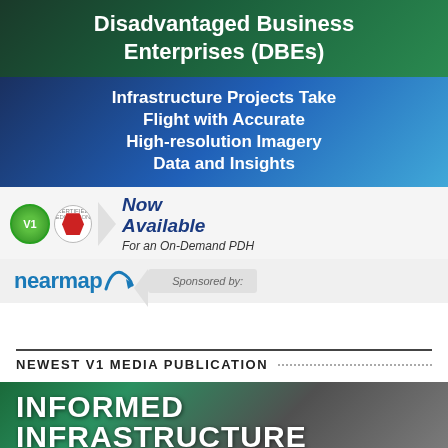[Figure (other): Green/dark banner with text 'Disadvantaged Business Enterprises (DBEs)']
[Figure (other): Blue gradient banner: 'Infrastructure Projects Take Flight with Accurate High-resolution Imagery Data and Insights']
[Figure (other): PDH section with V1 logo, ASCE certified education badge, arrow, 'Now Available For an On-Demand PDH']
[Figure (logo): Nearmap logo with 'Sponsored by:' arrow label]
NEWEST V1 MEDIA PUBLICATION
[Figure (other): Informed Infrastructure magazine cover with green/dark background and title text]